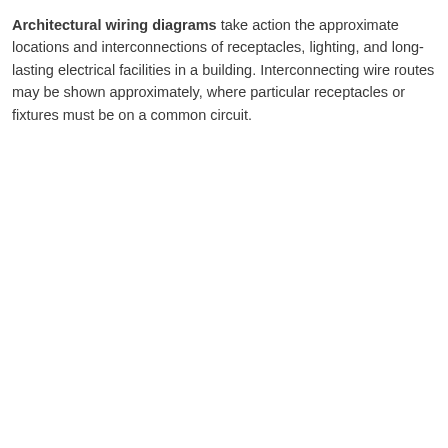Architectural wiring diagrams take action the approximate locations and interconnections of receptacles, lighting, and long-lasting electrical facilities in a building. Interconnecting wire routes may be shown approximately, where particular receptacles or fixtures must be on a common circuit.